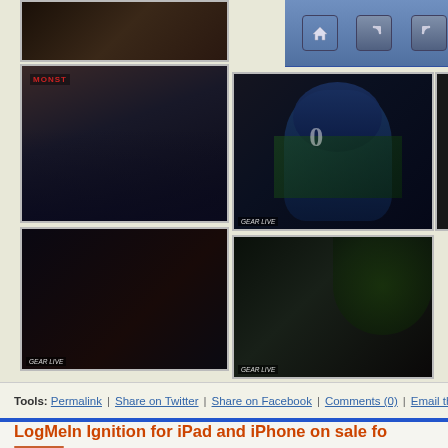[Figure (photo): Gallery of event photos showing people at a Monster-branded event with Seahawks mascot, speakers with phones/tablets, and crowd. Multiple photos arranged in grid layout.]
Tools: Permalink | Share on Twitter | Share on Facebook | Comments (0) | Email th
LogMeIn Ignition for iPad and iPhone on sale fo
Posted by Andru Edwards
Categories: Productivity, iPad Apps, Sales, Above $10,